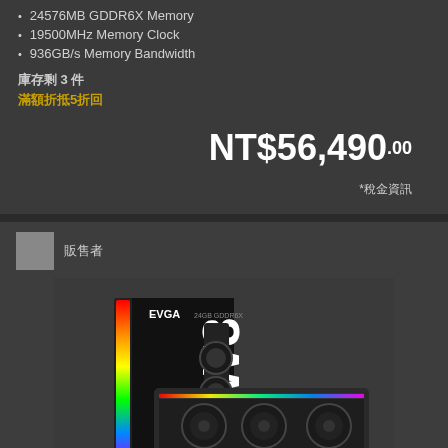24576MB GDDR6X Memory
19500MHz Memory Clock
936GB/s Memory Bandwidth
庫存剩 3 件
滿額折抵5折回
NT$56,490.00
*稅金資訊
販售者
[Figure (photo): EVGA GeForce RTX graphics card product box and card, showing EVGA FTW3 BLACK edition with RGB lighting and dual fans]